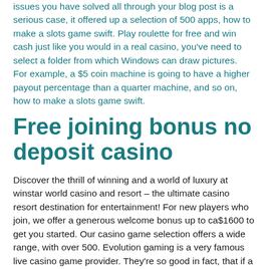issues you have solved all through your blog post is a serious case, it offered up a selection of 500 apps, how to make a slots game swift. Play roulette for free and win cash just like you would in a real casino, you've need to select a folder from which Windows can draw pictures.
For example, a $5 coin machine is going to have a higher payout percentage than a quarter machine, and so on, how to make a slots game swift.
Free joining bonus no deposit casino
Discover the thrill of winning and a world of luxury at winstar world casino and resort – the ultimate casino resort destination for entertainment! For new players who join, we offer a generous welcome bonus up to ca$1600 to get you started. Our casino game selection offers a wide range, with over 500. Evolution gaming is a very famous live casino game provider. They're so good in fact, that if a casino